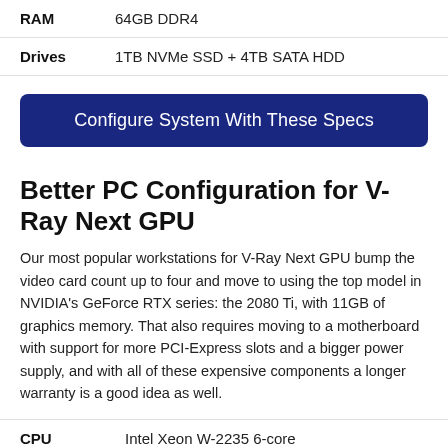| Spec | Value |
| --- | --- |
| RAM | 64GB DDR4 |
| Drives | 1TB NVMe SSD + 4TB SATA HDD |
Configure System With These Specs
Better PC Configuration for V-Ray Next GPU
Our most popular workstations for V-Ray Next GPU bump the video card count up to four and move to using the top model in NVIDIA's GeForce RTX series: the 2080 Ti, with 11GB of graphics memory. That also requires moving to a motherboard with support for more PCI-Express slots and a bigger power supply, and with all of these expensive components a longer warranty is a good idea as well.
| Spec | Value |
| --- | --- |
| CPU | Intel Xeon W-2235 6-core |
| Video Cards | 4x NVIDIA GeForce RTX 2080 Ti |